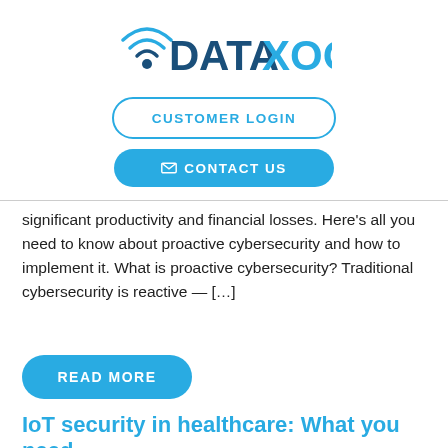[Figure (logo): DataXoom logo with WiFi signal icon on the left and stylized text 'DATAXOOM' in blue and dark blue]
CUSTOMER LOGIN
✉ CONTACT US
significant productivity and financial losses. Here's all you need to know about proactive cybersecurity and how to implement it. What is proactive cybersecurity? Traditional cybersecurity is reactive — […]
READ MORE
IoT security in healthcare: What you need